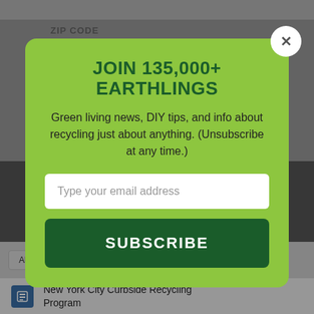[Figure (screenshot): Background webpage showing a recycling directory with ZIP CODE label, dark band, tab bar with All Listings / Map View / Programs / Mail-In, and a New York City Curbside Recycling Program listing]
JOIN 135,000+ EARTHLINGS
Green living news, DIY tips, and info about recycling just about anything. (Unsubscribe at any time.)
Type your email address
SUBSCRIBE